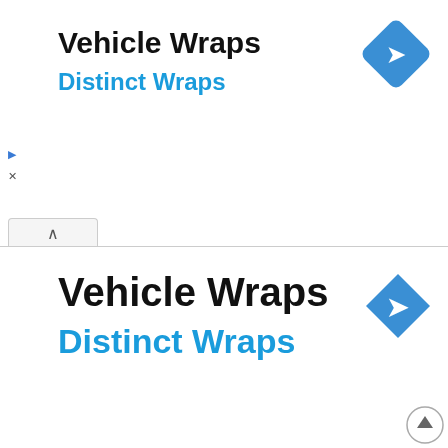[Figure (screenshot): Top advertisement banner: 'Vehicle Wraps / Distinct Wraps' with blue diamond navigation icon on the right, and play/close controls on the left.]
[Figure (screenshot): Expanded advertisement showing 'Vehicle Wraps / Distinct Wraps' in larger text with blue diamond icon on right, tab/collapse control at top-left.]
[Figure (screenshot): PDF viewer toolbar showing page controls: sidebar, up, down, zoom, page 1 of 7, minus, plus, and fast-forward navigation.]
*This application is for applicants who currently possess an LVN waitlist number*
It is the students responsibility to have their COMPLETED application packet turned in to the Health Sciences Department (Room M132) no later than June 30th 2015 including mailed applications. Incomplete applications received after June 30th 2015 will not be considered. If the office is closed, you may slide your application packet under the door.
INFORMATION SECTION
Dear Waitlisted Vocational Nursing Student: